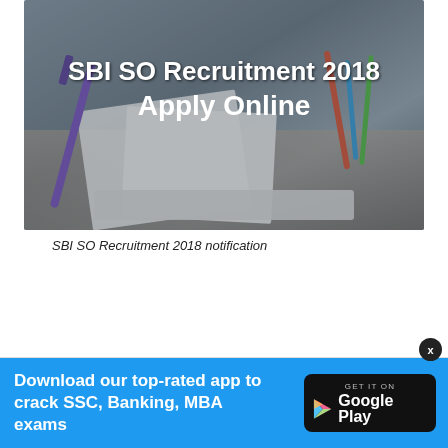[Figure (photo): Hero banner image showing desk with papers, pens and stationery items. White bold text overlay reads 'SBI SO Recruitment 2018 Apply Online']
SBI SO Recruitment 2018 notification
[Figure (infographic): Blue promotional banner ad reading 'Download our top-rated app to crack SSC, Banking, MBA exams' with Google Play badge on the right and X close button]